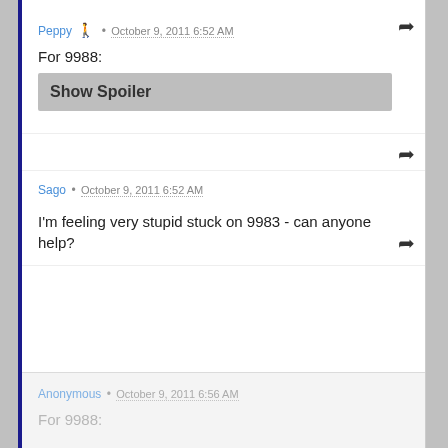Peppy • October 9, 2011 6:52 AM
For 9988:
Show Spoiler
Sago • October 9, 2011 6:52 AM
I'm feeling very stupid stuck on 9983 - can anyone help?
Anonymous • October 9, 2011 6:56 AM
For 9988: